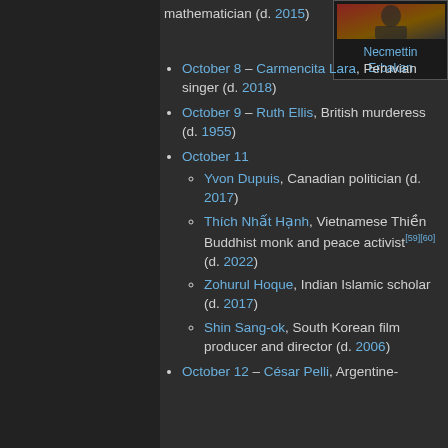[Figure (photo): Photo of Necmettin Erbakan with red background]
Necmettin Erbakan
mathematician (d. 2015)
October 8 – Carmencita Lara, Peruvian singer (d. 2018)
October 9 – Ruth Ellis, British murderess (d. 1955)
October 11
Yvon Dupuis, Canadian politician (d. 2017)
Thích Nhất Hạnh, Vietnamese Thiền Buddhist monk and peace activist[59][60] (d. 2022)
Zohurul Hoque, Indian Islamic scholar (d. 2017)
Shin Sang-ok, South Korean film producer and director (d. 2006)
October 12 – César Pelli, Argentine-